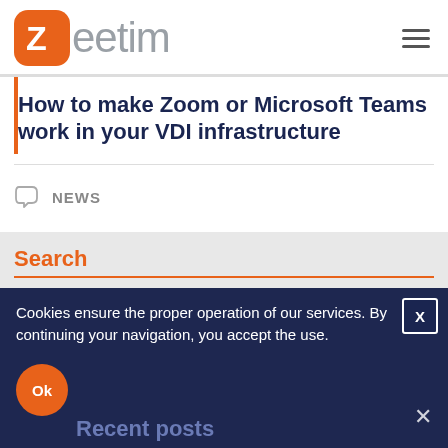[Figure (logo): Zeetim logo with orange Z in rounded square and gray 'eetim' text]
How to make Zoom or Microsoft Teams work in your VDI infrastructure
NEWS
Search
Cookies ensure the proper operation of our services. By continuing your navigation, you accept the use.
Ok
Recent posts